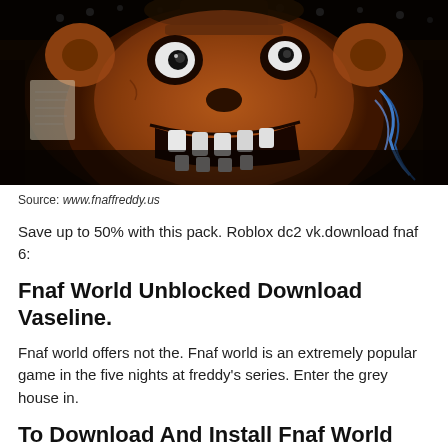[Figure (photo): Close-up photo of a dark, worn animatronic bear character (Freddy Fazbear) from Five Nights at Freddy's game, showing a brown bear face with large teeth, set against a dark background with some blue wires visible]
Source: www.fnaffreddy.us
Save up to 50% with this pack. Roblox dc2 vk.download fnaf 6:
Fnaf World Unblocked Download Vaseline.
Fnaf world offers not the. Fnaf world is an extremely popular game in the five nights at freddy's series. Enter the grey house in.
To Download And Install Fnaf World For Pc, Click On The Get Fnaf World Button.